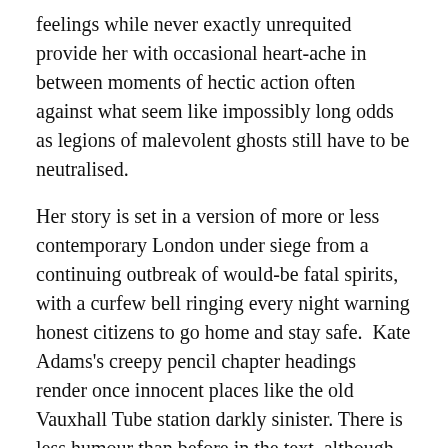feelings while never exactly unrequited provide her with occasional heart-ache in between moments of hectic action often against what seem like impossibly long odds as legions of malevolent ghosts still have to be neutralised.
Her story is set in a version of more or less contemporary London under siege from a continuing outbreak of would-be fatal spirits, with a curfew bell ringing every night warning honest citizens to go home and stay safe.  Kate Adams's creepy pencil chapter headings render once innocent places like the old Vauxhall Tube station darkly sinister. There is less humour than before in the text, although Lucy's strange companion, a talking skull carried around in her rucksack, is as wickedly chirpy as ever. But Lucy just about has the upper hand elsewhere, given that in this series only the young have the skills to detect the various ghosts all around them.